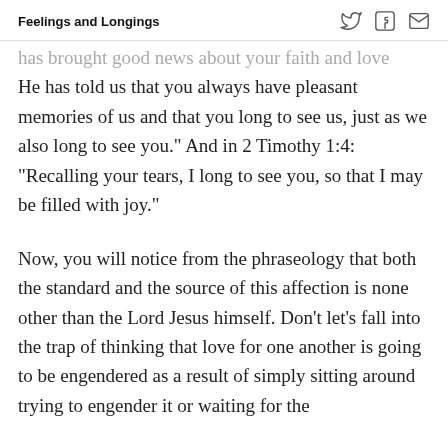Feelings and Longings
has brought good news about your faith and love He has told us that you always have pleasant memories of us and that you long to see us, just as we also long to see you.” And in 2 Timothy 1:4: “Recalling your tears, I long to see you, so that I may be filled with joy.”
Now, you will notice from the phraseology that both the standard and the source of this affection is none other than the Lord Jesus himself. Don’t let’s fall into the trap of thinking that love for one another is going to be engendered as a result of simply sitting around trying to engender it or waiting for the